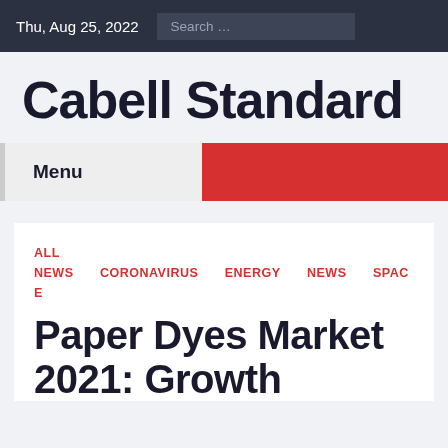Thu, Aug 25, 2022
Cabell Standard
Menu
ALL NEWS CORONAVIRUS ENERGY NEWS SPACE
Paper Dyes Market 2021: Growth